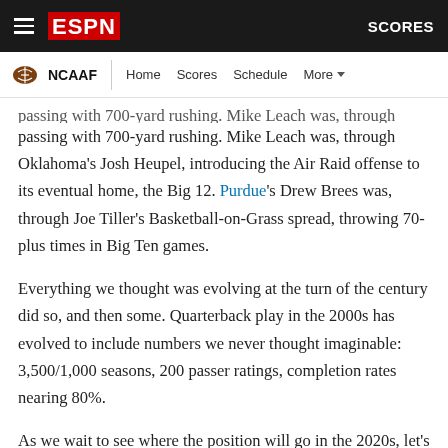ESPN | NCAAF | Home | Scores | Schedule | More | SCORES
passing with 700-yard rushing. Mike Leach was, through Oklahoma's Josh Heupel, introducing the Air Raid offense to its eventual home, the Big 12. Purdue's Drew Brees was, through Joe Tiller's Basketball-on-Grass spread, throwing 70-plus times in Big Ten games.
Everything we thought was evolving at the turn of the century did so, and then some. Quarterback play in the 2000s has evolved to include numbers we never thought imaginable: 3,500/1,000 seasons, 200 passer ratings, completion rates nearing 80%.
As we wait to see where the position will go in the 2020s, let's step back and take stock in what we've seen so far by ranking